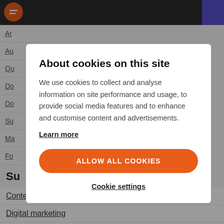Ar
Au
Qu
Do
Do
Su
Ma
Fo
Su
Content management
Digital marketing
Digital commerce
Customer data platf...
About cookies on this site
We use cookies to collect and analyse information on site performance and usage, to provide social media features and to enhance and customise content and advertisements.
Learn more
ALLOW ALL COOKIES
Cookie settings